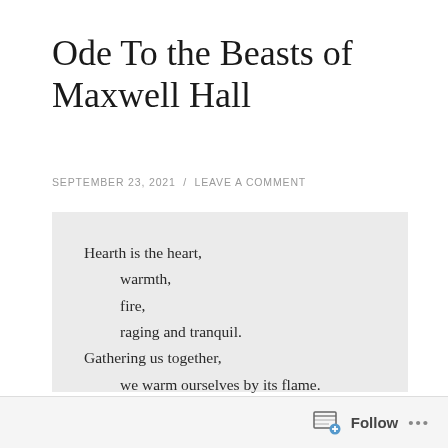Ode To the Beasts of Maxwell Hall
SEPTEMBER 23, 2021 / LEAVE A COMMENT
Hearth is the heart,
    warmth,
    fire,
    raging and tranquil.
Gathering us together,
    we warm ourselves by its flame.

Suckling bosom of knowledge,
    a hall of words,
Follow ...